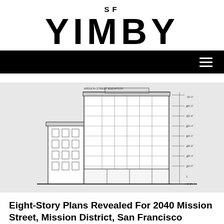SF YIMBY
[Figure (screenshot): Black navigation bar with hamburger menu icon on the right]
[Figure (engineering-diagram): Architectural elevation drawing of an eight-story building at 2040 Mission Street, showing facade with windows, floor level annotations, and height measurements on the right side]
Eight-Story Plans Revealed For 2040 Mission Street, Mission District, San Francisco